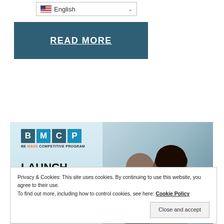English (language selector dropdown)
READ MORE
[Figure (infographic): BMCP (Be Mass Competitive Program) banner ad showing logo, 'LAUNCH YOUR CAREER - Paid Training & Job Experience' text on left, and photo of two smiling people on right]
Privacy & Cookies: This site uses cookies. By continuing to use this website, you agree to their use.
To find out more, including how to control cookies, see here: Cookie Policy
Close and accept
Be Mass Competitive Workforce